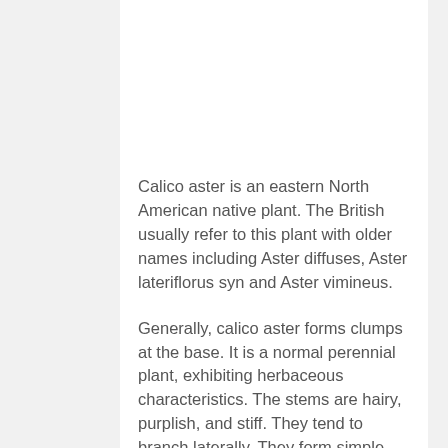Calico aster is an eastern North American native plant. The British usually refer to this plant with older names including Aster diffuses, Aster lateriflorus syn and Aster vimineus.
Generally, calico aster forms clumps at the base. It is a normal perennial plant, exhibiting herbaceous characteristics. The stems are hairy, purplish, and stiff. They tend to branch laterally. They form simple leaves and beautiful small flowers on them.